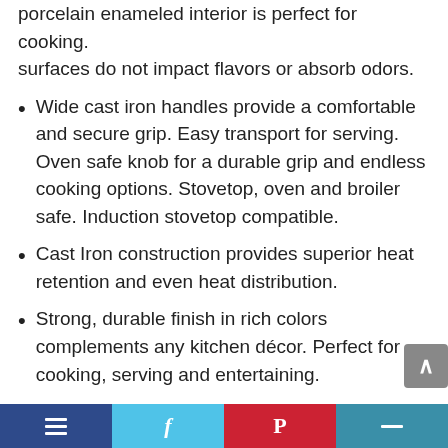porcelain enameled interior is perfect for cooking. surfaces do not impact flavors or absorb odors.
Wide cast iron handles provide a comfortable and secure grip. Easy transport for serving. Oven safe knob for a durable grip and endless cooking options. Stovetop, oven and broiler safe. Induction stovetop compatible.
Cast Iron construction provides superior heat retention and even heat distribution.
Strong, durable finish in rich colors complements any kitchen décor. Perfect for cooking, serving and entertaining.
Convenient maintenance and easy cleanup and dishwasher safe
[social media footer bar]